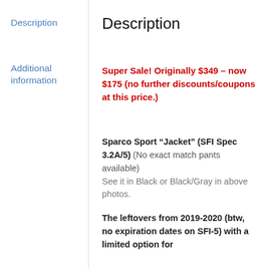Description
Additional information
Description
Super Sale! Originally $349 – now $175 (no further discounts/coupons at this price.)
Sparco Sport “Jacket” (SFI Spec 3.2A/5) (No exact match pants available) See it in Black or Black/Gray in above photos.
The leftovers from 2019-2020 (btw, no expiration dates on SFI-5) with a limited option for